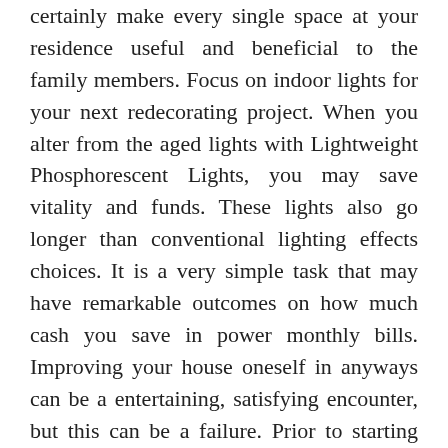certainly make every single space at your residence useful and beneficial to the family members. Focus on indoor lights for your next redecorating project. When you alter from the aged lights with Lightweight Phosphorescent Lights, you may save vitality and funds. These lights also go longer than conventional lighting effects choices. It is a very simple task that may have remarkable outcomes on how much cash you save in power monthly bills. Improving your house oneself in anyways can be a entertaining, satisfying encounter, but this can be a failure. Prior to starting any tasks, be sure to study what you're doing initial. Obtaining midway through any redesigning project only to discover you're doing something wrong is actually a nightmare waiting to occur. Include exhaust fans to substantial dampness regions,